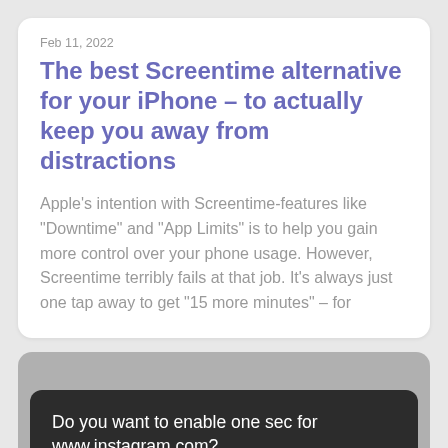Feb 11, 2022
The best Screentime alternative for your iPhone – to actually keep you away from distractions
Apple's intention with Screentime-features like “Downtime” and “App Limits” is to help you gain more control over your phone usage. However, Screentime terribly fails at that job. It’s always just one tap away to get “15 more minutes” – for
[Figure (screenshot): Dark dialog box on a gray background asking 'Do you want to enable one sec for www.instagram.com?' with a red-outlined button in the bottom right corner.]